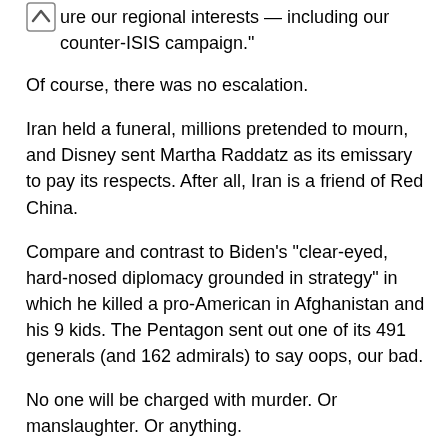…ure our regional interests — including our counter-ISIS campaign."
Of course, there was no escalation.
Iran held a funeral, millions pretended to mourn, and Disney sent Martha Raddatz as its emissary to pay its respects. After all, Iran is a friend of Red China.
Compare and contrast to Biden's "clear-eyed, hard-nosed diplomacy grounded in strategy" in which he killed a pro-American in Afghanistan and his 9 kids. The Pentagon sent out one of its 491 generals (and 162 admirals) to say oops, our bad.
No one will be charged with murder. Or manslaughter. Or anything.
Thanks to Biden's "clear-eyed, hard-nosed diplomacy grounded in strategy," Afghanistan is FUBAR.
President Trump had talked the Taliban into not shooting at Americans. He left a country at peace, much like Korea in 1953. While Korea technically is a forever war, you are safe